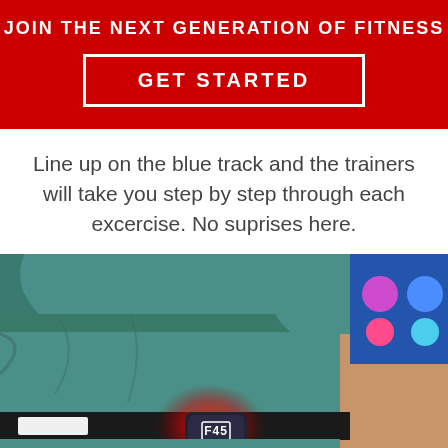JOIN THE NEXT GENERATION OF FITNESS
GET STARTED
Line up on the blue track and the trainers will take you step by step through each excercise. No suprises here.
[Figure (photo): Close-up photo of a person wearing a teal/green sports bra and a black waist strap with an F45 heart rate monitor device (red glow around it), with a blue digital display screen visible in the background.]